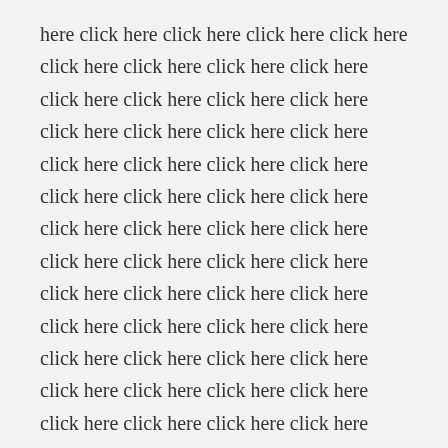here click here click here click here click here click here click here click here click here click here click here click here click here click here click here click here click here click here click here click here click here click here click here click here click here click here click here click here click here click here click here click here click here click here click here click here click here click here click here click here click here click here click here click here click here click here click here click here click here click here click here click here click here click here click he...
Read More
30
Jan
^